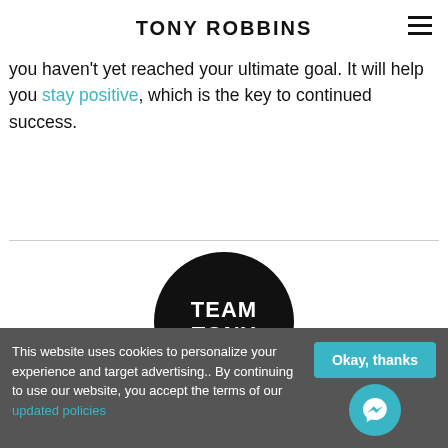TONY ROBBINS
you haven't yet reached your ultimate goal. It will help you stay positive, which is the key to continued success.
[Figure (logo): Team Tony circular black logo with white bold text reading TEAM TONY]
This website uses cookies to personalize your experience and target advertising.. By continuing to use our website, you accept the terms of our updated policies